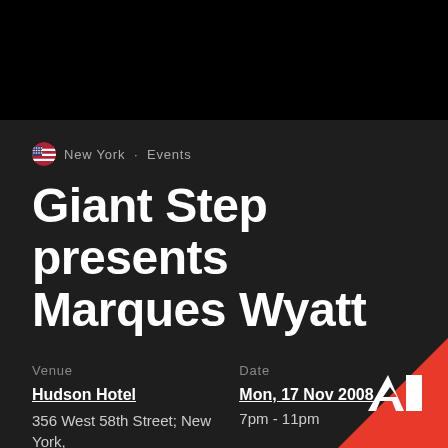New York · Events
Giant Step presents Marques Wyatt
Venue
Hudson Hotel
356 West 58th Street; New York, NY 10019; United States
Date
Mon, 17 Nov 2008
7pm - 11pm
Promoter
[Figure (logo): Resident Advisor RA logo white on red triangle corner]